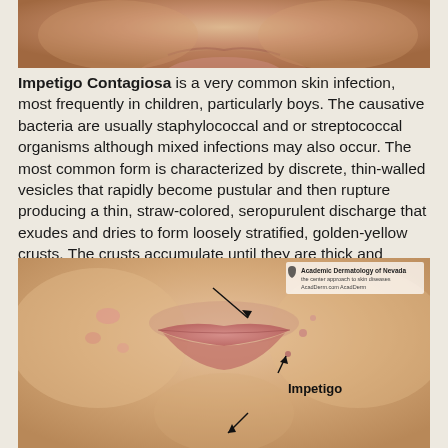[Figure (photo): Close-up photo of a person's lower face (mouth area) showing skin with impetigo lesions, cropped top portion]
Impetigo Contagiosa is a very common skin infection, most frequently in children, particularly boys. The causative bacteria are usually staphylococcal and or streptococcal organisms although mixed infections may also occur. The most common form is characterized by discrete, thin-walled vesicles that rapidly become pustular and then rupture producing a thin, straw-colored, seropurulent discharge that exudes and dries to form loosely stratified, golden-yellow crusts. The crusts accumulate until they are thick and friable.
[Figure (photo): Clinical photo of a person's lower face showing mouth/lips area with impetigo lesions marked by arrows pointing to affected areas, labeled 'Impetigo'. Watermark reads 'Academic Dermatology of Nevada, AcadDerm.com, AcadDerm']